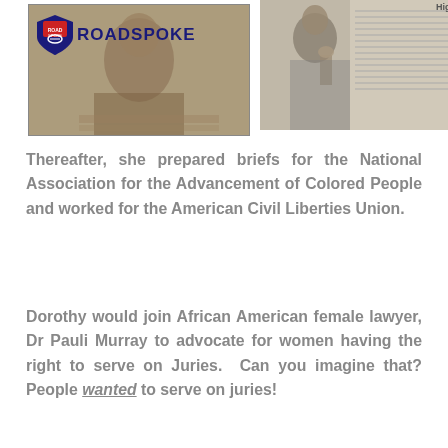[Figure (photo): Left: Black and white vintage photo of a person writing at a desk with Roadspoke logo overlay. Right: Black and white photo of a woman with hand to chin, with a document/newspaper in background.]
Thereafter, she prepared briefs for the National Association for the Advancement of Colored People and worked for the American Civil Liberties Union.
Dorothy would join African American female lawyer, Dr Pauli Murray to advocate for women having the right to serve on Juries.  Can you imagine that? People wanted to serve on juries!